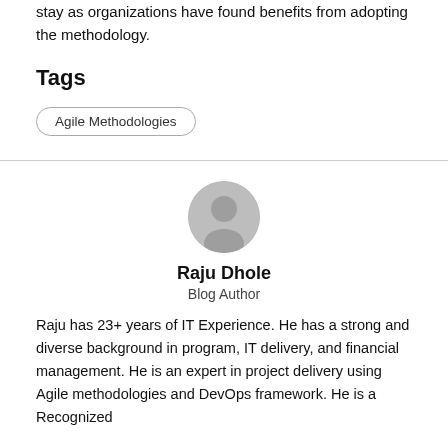stay as organizations have found benefits from adopting the methodology.
Tags
Agile Methodologies
[Figure (illustration): Circular avatar placeholder icon showing a silhouette of a person, grey colored]
Raju Dhole
Blog Author
Raju has 23+ years of IT Experience. He has a strong and diverse background in program, IT delivery, and financial management. He is an expert in project delivery using Agile methodologies and DevOps framework. He is a Recognized